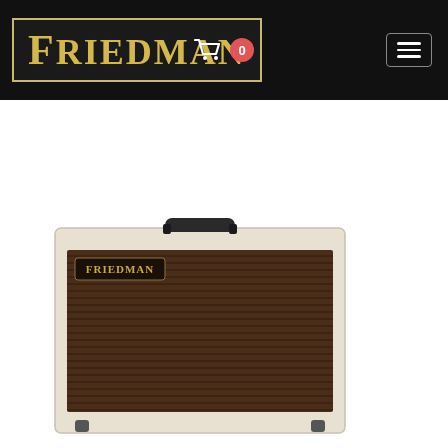Friedman - Navigation header with cart (0) and menu
[Figure (photo): Friedman guitar amplifier cabinet - large cream/white tolex covered 1x12 combo style cabinet with brown horizontal-striped grille cloth and black leather handle on top, with Friedman logo badge on grille. Two smaller versions of the same cabinet visible at bottom.]